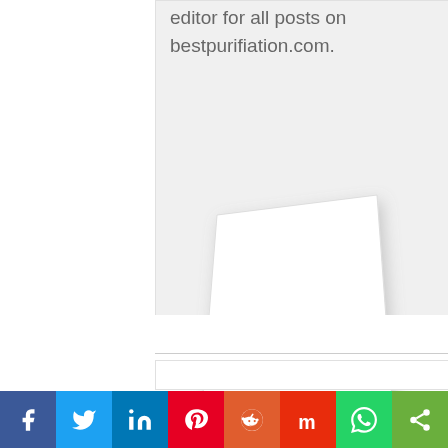editor for all posts on bestpurifiation.com.
[Figure (illustration): A white blank sheet of paper tilted slightly, shown with a drop shadow on a light gray background.]
[Figure (illustration): Social media sharing bar with icons for Facebook, Twitter, LinkedIn, Pinterest, Reddit, Mix, WhatsApp, and a share button.]